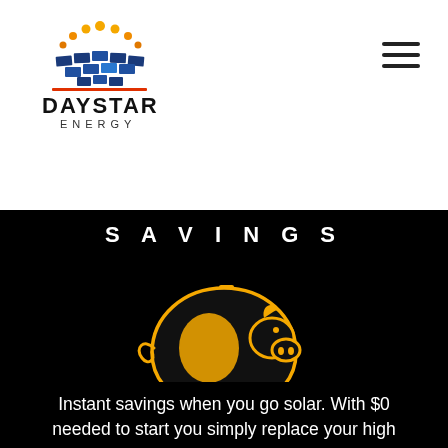[Figure (logo): Daystar Energy logo: sun rays and solar panels graphic above the text DAYSTAR ENERGY in bold uppercase]
[Figure (illustration): Hamburger menu icon (three horizontal lines) in top right corner]
SAVINGS
[Figure (illustration): Golden/orange outlined piggy bank illustration on black background]
Instant savings when you go solar. With $0 needed to start you simply replace your high